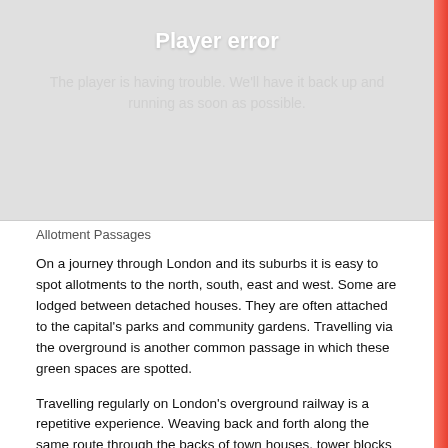[Figure (screenshot): Video player error screen with grey background showing 'Player error' title in white bold text and subtitle 'The player is having trouble. We'll have it back up and running as soon as possible.' in light grey text]
Allotment Passages
On a journey through London and its suburbs it is easy to spot allotments to the north, south, east and west. Some are lodged between detached houses. They are often attached to the capital's parks and community gardens. Travelling via the overground is another common passage in which these green spaces are spotted.
Travelling regularly on London's overground railway is a repetitive experience. Weaving back and forth along the same route through the backs of town houses, tower blocks and shining glass buildings can have an impact on the mind which can be hypnotic. In some parts dull, in others mesmerising as the hidden natural world comes to life to the accompaniment of the rattling sounds of the train. For me, the sight of allotments on my countless journeys is alluring. The sight appeals to my mind. As the more oven roan where more in the loss origin it and the re...